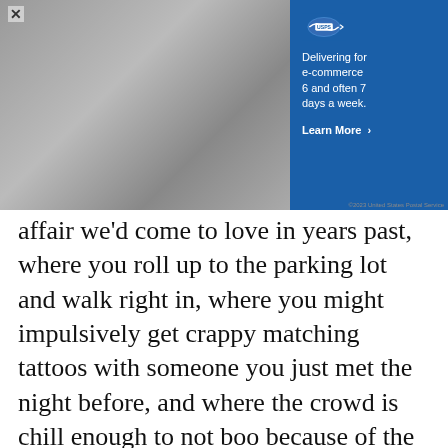[Figure (screenshot): Advertisement banner showing a USPS mail carrier with packages on a hand truck. On the right side is a blue USPS ad with text: 'Delivering for e-commerce 6 and often 7 days a week.' and a 'Learn More' link with arrow. Top left has an X close button.]
affair we'd come to love in years past, where you roll up to the parking lot and walk right in, where you might impulsively get crappy matching tattoos with someone you just met the night before, and where the crowd is chill enough to not boo because of the weather.
“Maybe this was inevitable,” I think to myself as a pedicab carrying a grown man in a giraffe onesie cruises by blasting “Just Dance.”
--